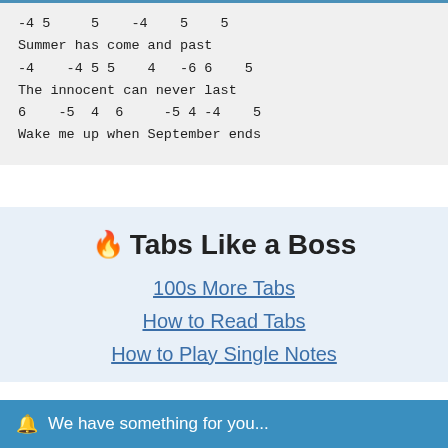-4 5     5    -4    5    5
Summer has come and past
-4    -4 5 5    4   -6 6    5
The innocent can never last
6    -5  4  6     -5 4 -4    5
Wake me up when September ends
🔥 Tabs Like a Boss
100s More Tabs
How to Read Tabs
How to Play Single Notes
🔔  We have something for you...